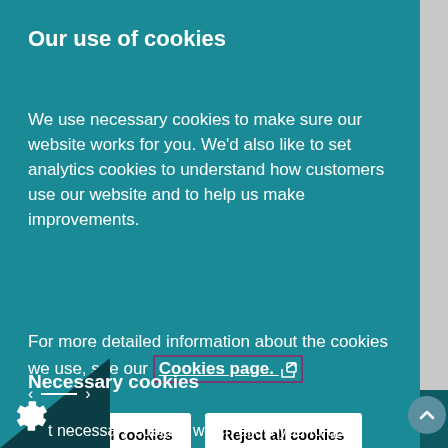Our use of cookies
We use necessary cookies to make sure our website works for you. We'd also like to set analytics cookies to understand how customers use our website and to help us make improvements.
For more detailed information about the cookies we use, see our Cookies page.
Accept all cookies
Reject all cookies
Necessary cookies
t necessary cookies which allow you to use